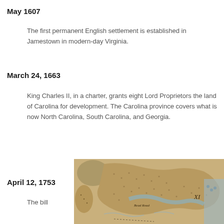May 1607
The first permanent English settlement is established in Jamestown in modern-day Virginia.
March 24, 1663
King Charles II, in a charter, grants eight Lord Proprietors the land of Carolina for development. The Carolina province covers what is now North Carolina, South Carolina, and Georgia.
April 12, 1753
The bill
[Figure (map): Historical map showing coastal waterways and landforms, with Roman numeral XI visible, depicting Carolina/colonial era cartography with dotted terrain markings.]